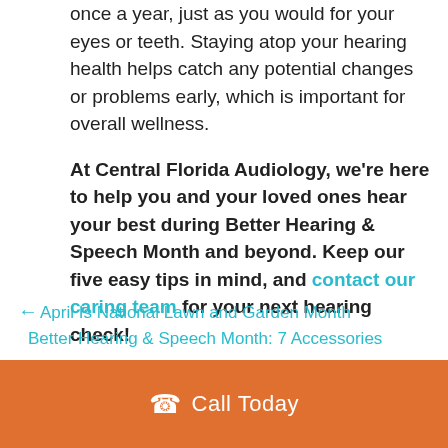once a year, just as you would for your eyes or teeth. Staying atop your hearing health helps catch any potential changes or problems early, which is important for overall wellness.
At Central Florida Audiology, we're here to help you and your loved ones hear your best during Better Hearing & Speech Month and beyond. Keep our five easy tips in mind, and contact our caring team for your next hearing check!
← April Is National Lawn and Garden Month
Better Hearing & Speech Month: 7 Accessories to Turn Up Your Tech →
Call Today